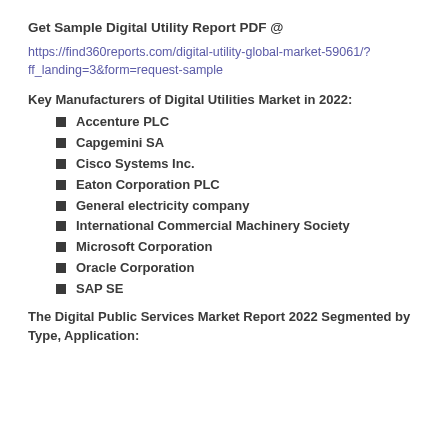Get Sample Digital Utility Report PDF @
https://find360reports.com/digital-utility-global-market-59061/?ff_landing=3&form=request-sample
Key Manufacturers of Digital Utilities Market in 2022:
Accenture PLC
Capgemini SA
Cisco Systems Inc.
Eaton Corporation PLC
General electricity company
International Commercial Machinery Society
Microsoft Corporation
Oracle Corporation
SAP SE
The Digital Public Services Market Report 2022 Segmented by Type, Application: